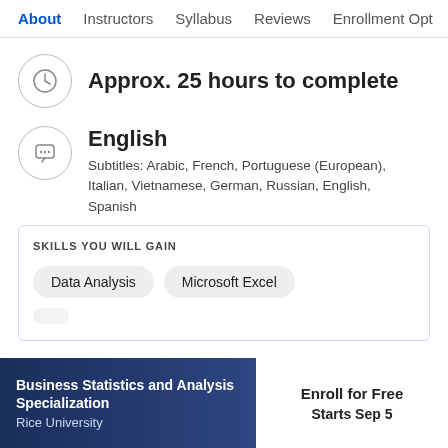About   Instructors   Syllabus   Reviews   Enrollment Opt
Approx. 25 hours to complete
English
Subtitles: Arabic, French, Portuguese (European), Italian, Vietnamese, German, Russian, English, Spanish
SKILLS YOU WILL GAIN
Data Analysis
Microsoft Excel
Business Statistics and Analysis Specialization
Rice University
Enroll for Free
Starts Sep 5